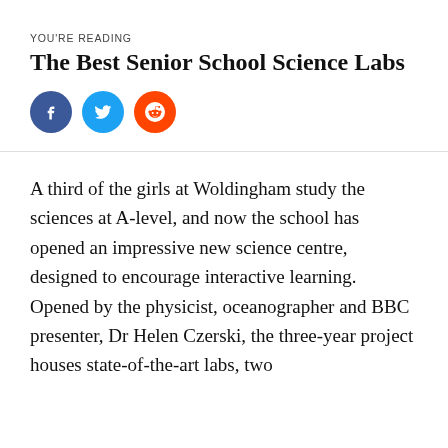YOU'RE READING
The Best Senior School Science Labs
[Figure (other): Social share buttons: Facebook (blue circle with f), Twitter (cyan circle with bird icon), Reddit (orange circle with alien icon)]
A third of the girls at Woldingham study the sciences at A-level, and now the school has opened an impressive new science centre, designed to encourage interactive learning. Opened by the physicist, oceanographer and BBC presenter, Dr Helen Czerski, the three-year project houses state-of-the-art labs, two